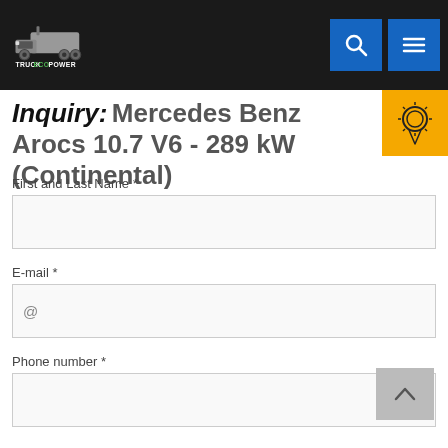TruckEcoPower logo with navigation search and menu buttons
Inquiry: Mercedes Benz Arocs 10.7 V6 - 289 kW (Continental)
First and Last Name *
E-mail *
@
Phone number *